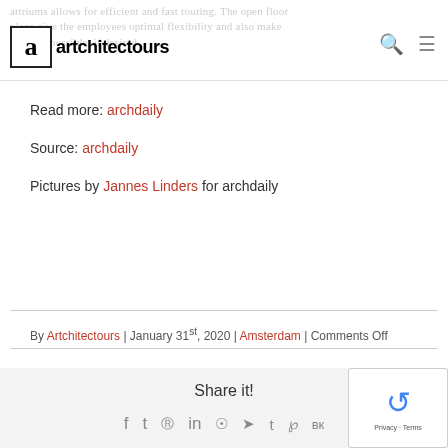artchitectours allows for efficient and fast routing. The open floor plans give the employees optimal flexibility and also make changes possible, if desired.
Read more: archdaily
Source: archdaily
Pictures by Jannes Linders for archdaily
By Artchitectours | January 31st, 2020 | Amsterdam | Comments Off
Share it!
f  t  reddit  in  whatsapp  telegram  tumblr  pinterest  vk